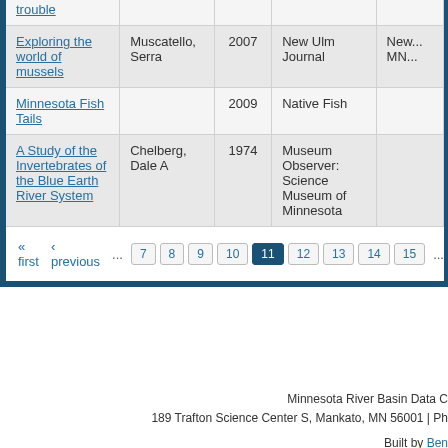| Title | Author | Year | Source |  |
| --- | --- | --- | --- | --- |
| trouble |  |  |  |  |
| Exploring the world of mussels | Muscatello, Serra | 2007 | New Ulm Journal | New... MN... |
| Minnesota Fish Tails |  | 2009 | Native Fish |  |
| A Study of the Invertebrates of the Blue Earth River System | Chelberg, Dale A | 1974 | Museum Observer: Science Museum of Minnesota |  |
« first ‹ previous ... 7 8 9 10 11 12 13 14 15 ... ne
Minnesota River Basin Data C
189 Trafton Science Center S, Mankato, MN 56001 | Ph
Built by Ben